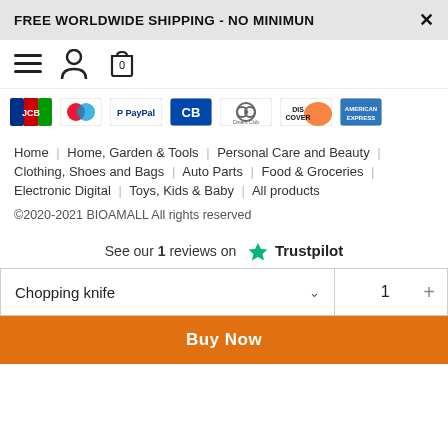FREE WORLDWIDE SHIPPING - NO MINIMUN
[Figure (screenshot): Navigation icons: hamburger menu, person/account icon, shopping bag with 0]
[Figure (screenshot): Payment method logos: JCB, Mastercard, PayPal, CB, Diners Club, Discover, American Express]
Home | Home, Garden & Tools | Personal Care and Beauty |
Clothing, Shoes and Bags | Auto Parts | Food & Groceries |
Electronic Digital | Toys, Kids & Baby | All products
©2020-2021 BIOAMALL All rights reserved
See our 1 reviews on ★ Trustpilot
Chopping knife  1
Buy Now